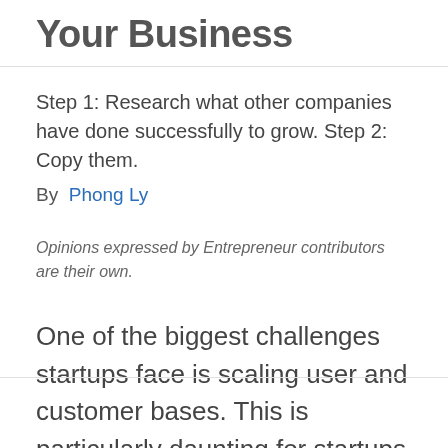Your Business
Step 1: Research what other companies have done successfully to grow. Step 2: Copy them.
By Phong Ly
Opinions expressed by Entrepreneur contributors are their own.
One of the biggest challenges startups face is scaling user and customer bases. This is particularly daunting for startups and